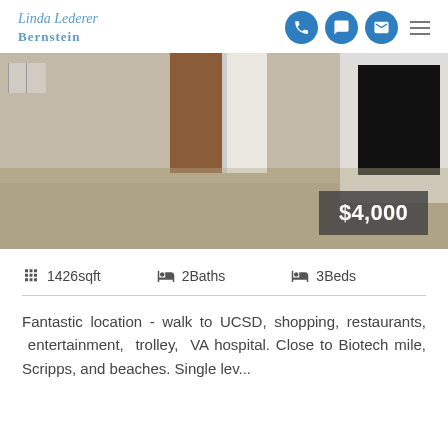Linda Lederer Bernstein
[Figure (photo): Interior photo of an empty room with carpet, wood doors, and a white brick fireplace with black insert. Price overlay shows $4,000.]
1426sqft   2Baths   3Beds
Fantastic location - walk to UCSD, shopping, restaurants, entertainment, trolley, VA hospital. Close to Biotech mile, Scripps, and beaches. Single lev...